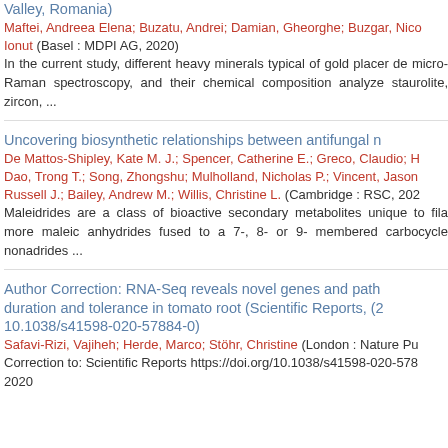Valley, Romania)
Maftei, Andreea Elena; Buzatu, Andrei; Damian, Gheorghe; Buzgar, Nico Ionut (Basel : MDPI AG, 2020)
In the current study, different heavy minerals typical of gold placer de micro-Raman spectroscopy, and their chemical composition analyze staurolite, zircon, ...
Uncovering biosynthetic relationships between antifungal n
De Mattos-Shipley, Kate M. J.; Spencer, Catherine E.; Greco, Claudio; H Dao, Trong T.; Song, Zhongshu; Mulholland, Nicholas P.; Vincent, Jason Russell J.; Bailey, Andrew M.; Willis, Christine L. (Cambridge : RSC, 202
Maleidrides are a class of bioactive secondary metabolites unique to fila more maleic anhydrides fused to a 7-, 8- or 9- membered carbocycle nonadrides ...
Author Correction: RNA-Seq reveals novel genes and path duration and tolerance in tomato root (Scientific Reports, (2 10.1038/s41598-020-57884-0)
Safavi-Rizi, Vajiheh; Herde, Marco; Stöhr, Christine (London : Nature Pu
Correction to: Scientific Reports https://doi.org/10.1038/s41598-020-578 2020